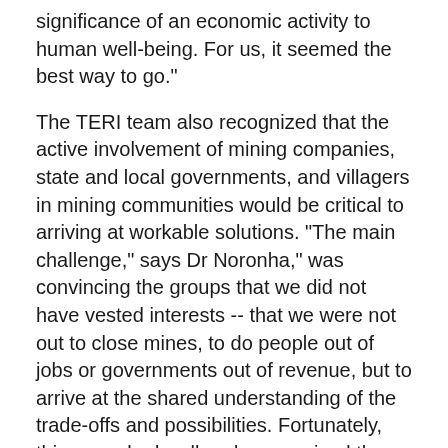significance of an economic activity to human well-being. For us, it seemed the best way to go."
The TERI team also recognized that the active involvement of mining companies, state and local governments, and villagers in mining communities would be critical to arriving at workable solutions. "The main challenge," says Dr Noronha," was convincing the groups that we did not have vested interests -- that we were not out to close mines, to do people out of jobs or governments out of revenue, but to arrive at the shared understanding of the trade-offs and possibilities. Fortunately, things worked well and we received the full support of the local communities, industry, and the government during this project.
To overcome early skepticism, the TERI team launched a process they refer to as "multistakeholder issue